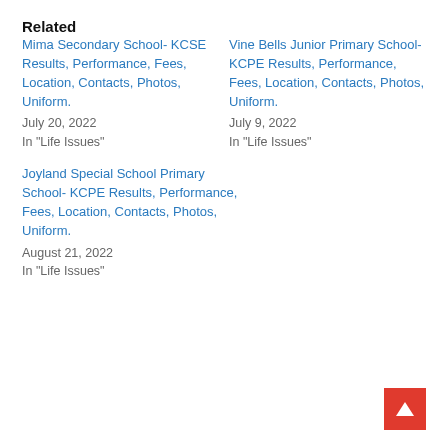Related
Mima Secondary School- KCSE Results, Performance, Fees, Location, Contacts, Photos, Uniform.
July 20, 2022
In "Life Issues"
Vine Bells Junior Primary School- KCPE Results, Performance, Fees, Location, Contacts, Photos, Uniform.
July 9, 2022
In "Life Issues"
Joyland Special School Primary School- KCPE Results, Performance, Fees, Location, Contacts, Photos, Uniform.
August 21, 2022
In "Life Issues"